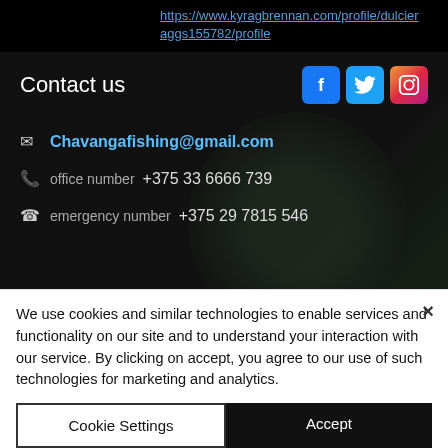https://www.kyragbrennan.com/profile/dulcieraggs155782/profile
Contact us
[Figure (infographic): Social media icons: Facebook (blue), Twitter (light blue), Instagram (gradient)]
Chavangafishing@gmail.com
office number  +375 33 6666 739
emergency number  +375 29 7815 546
We use cookies and similar technologies to enable services and functionality on our site and to understand your interaction with our service. By clicking on accept, you agree to our use of such technologies for marketing and analytics.
Cookie Settings
Accept